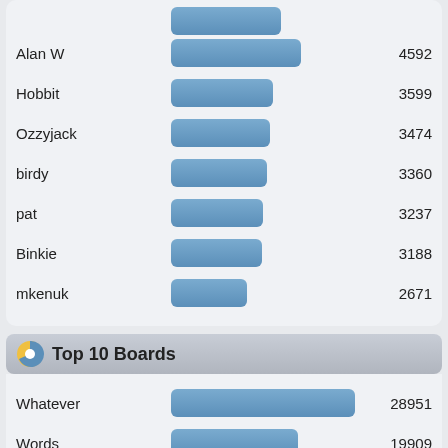[Figure (bar-chart): Top Users (partial)]
Top 10 Boards
[Figure (bar-chart): Top 10 Boards]